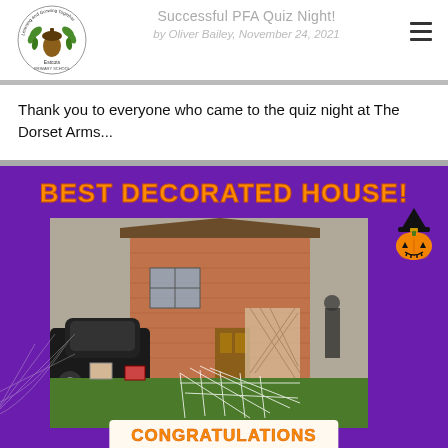[Figure (logo): Estcots school logo - circular badge with acorn and leaves, text 'Learning and Growing Together Estcots Primary School']
Successful PFA Quiz Night!
by Oliver Bailey, November 24, 2021
Thank you to everyone who came to the quiz night at The Dorset Arms...
[Figure (photo): Purple background image with orange bold text 'BEST DECORATED HOUSE!' at top, a photograph of a Halloween-decorated house with cobwebs, spider webs, skeleton decorations on the front garden, a black car parked, and a jack-o-lantern pumpkin emoji in a witch hat on the right. At the bottom a white/cream banner with orange text 'CONGRATULATIONS'. Spider web decorations in bottom-left corner.]